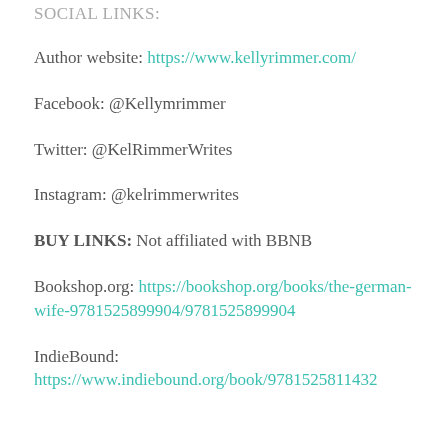SOCIAL LINKS:
Author website: https://www.kellyrimmer.com/
Facebook: @Kellymrimmer
Twitter: @KelRimmerWrites
Instagram: @kelrimmerwrites
BUY LINKS: Not affiliated with BBNB
Bookshop.org: https://bookshop.org/books/the-german-wife-9781525899904/9781525899904
IndieBound: https://www.indiebound.org/book/9781525811432